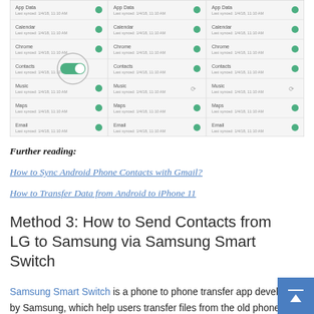[Figure (screenshot): Screenshot of a phone contacts sync settings screen showing three columns with app entries (App Data, Calendar, Chrome, Contacts, Music, Maps, Email) each with green toggle/sync indicators. The middle column has a large circular toggle highlighted on Contacts row.]
Further reading:
How to Sync Android Phone Contacts with Gmail?
How to Transfer Data from Android to iPhone 11
Method 3: How to Send Contacts from LG to Samsung via Samsung Smart Switch
Samsung Smart Switch is a phone to phone transfer app developed by Samsung, which help users transfer files from the old phone to the new Galaxy phone in